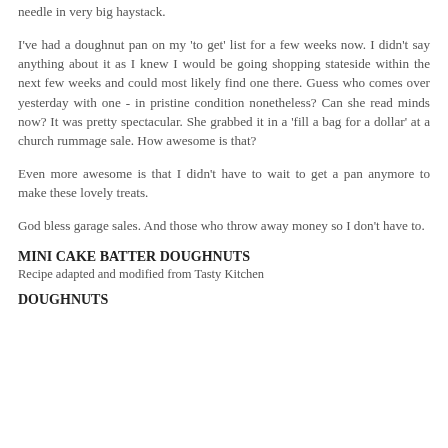needle in very big haystack.
I've had a doughnut pan on my 'to get' list for a few weeks now. I didn't say anything about it as I knew I would be going shopping stateside within the next few weeks and could most likely find one there. Guess who comes over yesterday with one - in pristine condition nonetheless? Can she read minds now? It was pretty spectacular. She grabbed it in a 'fill a bag for a dollar' at a church rummage sale. How awesome is that?
Even more awesome is that I didn't have to wait to get a pan anymore to make these lovely treats.
God bless garage sales. And those who throw away money so I don't have to.
MINI CAKE BATTER DOUGHNUTS
Recipe adapted and modified from Tasty Kitchen
DOUGHNUTS